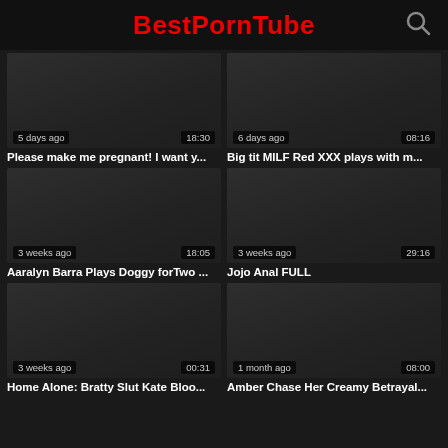BestPornTube
[Figure (screenshot): Video thumbnail dark placeholder, 5 days ago, 18:30]
Please make me pregnant! I want y...
[Figure (screenshot): Video thumbnail dark placeholder, 6 days ago, 08:16]
Big tit MILF Red XXX plays with m...
[Figure (screenshot): Video thumbnail dark placeholder, 3 weeks ago, 18:05]
Aaralyn Barra Plays Doggy forTwo ...
[Figure (screenshot): Video thumbnail dark placeholder, 3 weeks ago, 29:16]
Jojo Anal FULL
[Figure (screenshot): Video thumbnail dark placeholder, 3 weeks ago, 00:31]
Home Alone: Bratty Slut Kate Bloo...
[Figure (screenshot): Video thumbnail dark placeholder, 1 month ago, 08:00]
Amber Chase Her Creamy Betrayal...